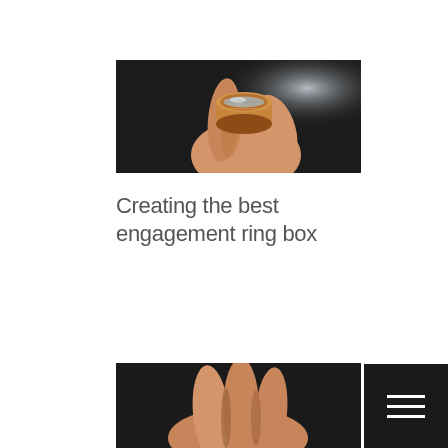[Figure (photo): A hand holding a small round copper/bronze engagement ring box with a glass top, against a dark background with a light flare]
Creating the best engagement ring box
[Figure (photo): A hand holding an engagement ring box, dark background, partially visible at bottom of page]